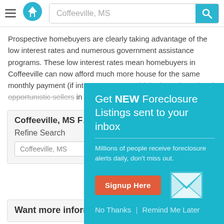[Figure (screenshot): Website header with hamburger menu icon, home logo icon in teal/blue, search bar showing 'Coffeeville, MS', and teal search button with magnifying glass icon]
Prospective homebuyers are clearly taking advantage of the low interest rates and numerous government assistance programs. These low interest rates mean homebuyers in Coffeeville can now afford much more house for the same monthly payment (if interest rates were higher). Motivated and opportunistic sellers in Coffeeville, meanwhile, are pricing homes to attract qualified buyers.
Coffeeville, MS F...
Refine Search
Coffeeville, MS
[Figure (screenshot): Modal popup with teal background: 'Get NEW Foreclosure Listings sent to your inbox' with subtitle 'Millions of people receive foreclosure alerts daily, don't miss out.' A red 'Signup Here' button, envelope icon, and links 'No Thanks | Remind Me Later']
Want more information on listings?